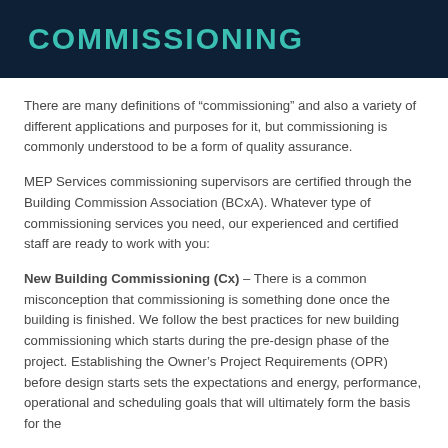COMMISSIONING
There are many definitions of “commissioning” and also a variety of different applications and purposes for it, but commissioning is commonly understood to be a form of quality assurance.
MEP Services commissioning supervisors are certified through the Building Commission Association (BCxA). Whatever type of commissioning services you need, our experienced and certified staff are ready to work with you:
New Building Commissioning (Cx) – There is a common misconception that commissioning is something done once the building is finished. We follow the best practices for new building commissioning which starts during the pre-design phase of the project. Establishing the Owner’s Project Requirements (OPR) before design starts sets the expectations and energy, performance, operational and scheduling goals that will ultimately form the basis for the